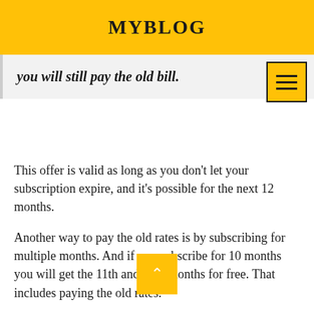MYBLOG
you will still pay the old bill.
This offer is valid as long as you don't let your subscription expire, and it's possible for the next 12 months.
Another way to pay the old rates is by subscribing for multiple months. And if you subscribe for 10 months you will get the 11th and 12th months for free. That includes paying the old rates.
But this offer is only valid if you subscribe